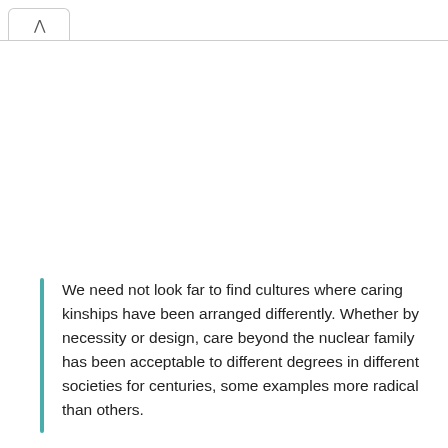We need not look far to find cultures where caring kinships have been arranged differently. Whether by necessity or design, care beyond the nuclear family has been acceptable to different degrees in different societies for centuries, some examples more radical than others.